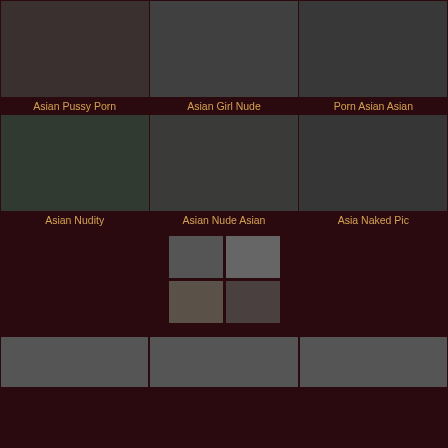[Figure (photo): Thumbnail image 1 - Asian Pussy Porn]
Asian Pussy Porn
[Figure (photo): Thumbnail image 2 - Asian Girl Nude]
Asian Girl Nude
[Figure (photo): Thumbnail image 3 - Porn Asian Asian]
Porn Asian Asian
[Figure (photo): Thumbnail image 4 - Asian Nudity]
Asian Nudity
[Figure (photo): Thumbnail image 5 - Asian Nude Asian]
Asian Nude Asian
[Figure (photo): Thumbnail image 6 - Asia Naked Pic]
Asia Naked Pic
[Figure (photo): Four small thumbnail images in middle section]
[Figure (photo): Three gray placeholder thumbnails at bottom]